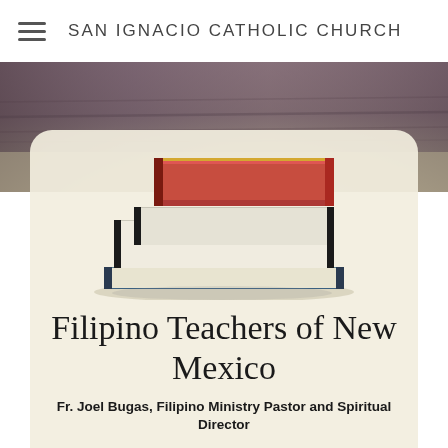SAN IGNACIO CATHOLIC CHURCH
[Figure (photo): Background photo of a wooden surface/table, blurred, in warm brown-purple tones]
[Figure (photo): Stack of books with a red book on top, white and beige books in the middle, and a blue book at the bottom, on a cream/beige background]
Filipino Teachers of New Mexico
Fr. Joel Bugas, Filipino Ministry Pastor and Spiritual Director